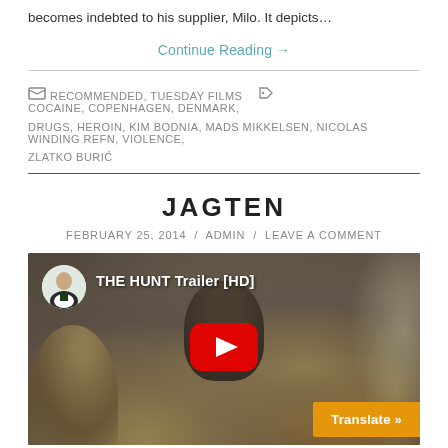becomes indebted to his supplier, Milo. It depicts…
Continue Reading →
RECOMMENDED, TUESDAY FILMS   COCAINE, COPENHAGEN, DENMARK, DRUGS, HEROIN, KIM BODNIA, MADS MIKKELSEN, NICOLAS WINDING REFN, VIOLENCE, ZLATKO BURIĆ
JAGTEN
FEBRUARY 25, 2014 / ADMIN / LEAVE A COMMENT
[Figure (screenshot): YouTube video thumbnail for 'THE HUNT Trailer [HD]' showing a man's face in a church setting with a red YouTube play button overlay and a Translate button in the bottom right corner.]